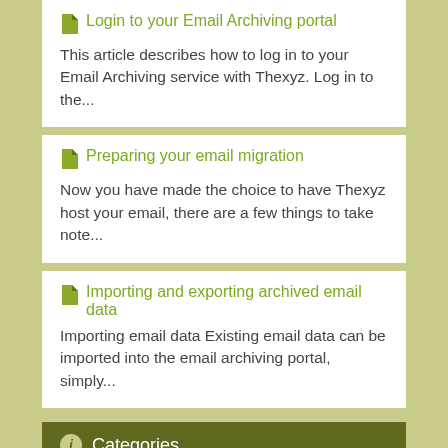Login to your Email Archiving portal
This article describes how to log in to your Email Archiving service with Thexyz. Log in to the...
Preparing your email migration
Now you have made the choice to have Thexyz host your email, there are a few things to take note...
Importing and exporting archived email data
Importing email data Existing email data can be imported into the email archiving portal, simply...
Categories
We use cookies to support and improve your experience on our website. By using this website you agree to our cookie policy.